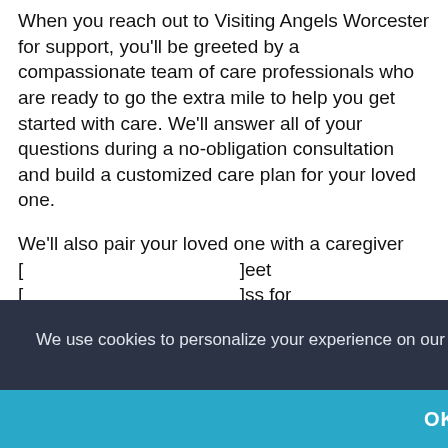When you reach out to Visiting Angels Worcester for support, you'll be greeted by a compassionate team of care professionals who are ready to go the extra mile to help you get started with care. We'll answer all of your questions during a no-obligation consultation and build a customized care plan for your loved one.
We'll also pair your loved one with a caregiver [obscured by overlay] ...eet ...ss for ...d, ...rtant ...se ...ing, trust-based relationships with clients
We use cookies to personalize your experience on our site. To find out more, please read our data policy.
OK